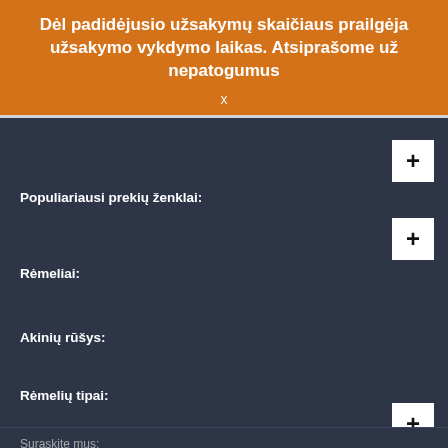Dėl padidėjusio užsakymų skaičiaus prailgėja užsakymo vykdymo laikas. Atsiprašome už nepatogumus
x
Populiariausi prekių ženklai:
Rėmeliai:
Akinių rūšys:
Rėmelių tipai:
Suraskite mus: